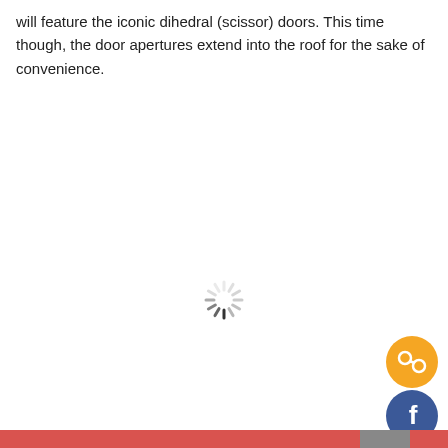will feature the iconic dihedral (scissor) doors. This time though, the door apertures extend into the roof for the sake of convenience.
[Figure (other): Loading spinner icon (circular dashed spinner in gray)]
[Figure (logo): Golden circle with share/chain link icon]
[Figure (logo): Blue circle with Facebook 'f' logo]